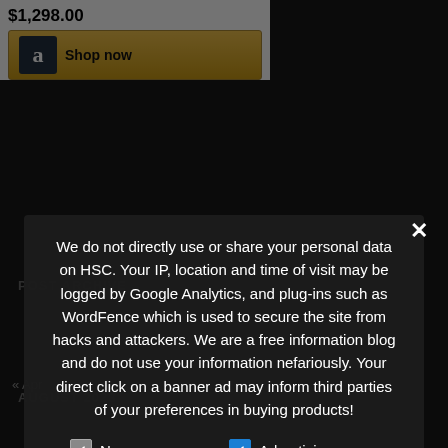[Figure (screenshot): Amazon product widget showing price $1,298.00 and a Shop now button with Amazon logo]
POST ARCHIVE
AUGUST 2023
We do not directly use or share your personal data on HSC. Your IP, location and time of visit may be logged by Google Analytics, and plug-ins such as WordFence which is used to secure the site from hacks and attackers. We are a free information blog and do not use your information nefariously. Your direct click on a banner ad may inform third parties of your preferences in buying products!
Necessary
Advertising
Analytics
Other
› Privacy Preferences
I Agree
« Apr